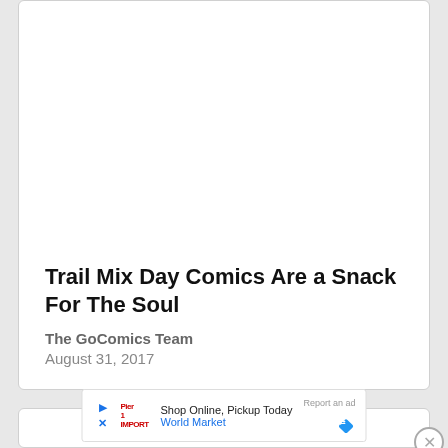Trail Mix Day Comics Are a Snack For The Soul
The GoComics Team
August 31, 2017
[Figure (other): Advertisement banner for World Market: Shop Online, Pickup Today with play and close icons, World Market logo, and Report an ad link with blue diamond icon]